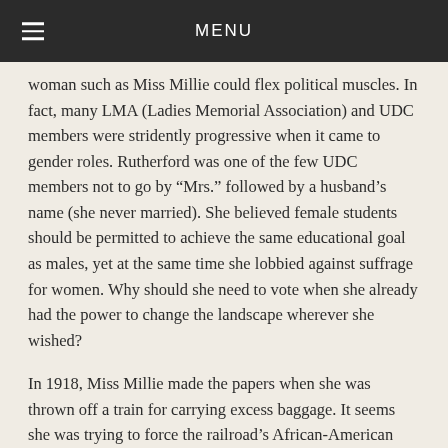MENU
woman such as Miss Millie could flex political muscles. In fact, many LMA (Ladies Memorial Association) and UDC members were stridently progressive when it came to gender roles. Rutherford was one of the few UDC members not to go by “Mrs.” followed by a husband’s name (she never married). She believed female students should be permitted to achieve the same educational goal as males, yet at the same time she lobbied against suffrage for women. Why should she need to vote when she already had the power to change the landscape wherever she wished?
In 1918, Miss Millie made the papers when she was thrown off a train for carrying excess baggage. It seems she was trying to force the railroad’s African-American porters to lift her trunks full of 70 400-